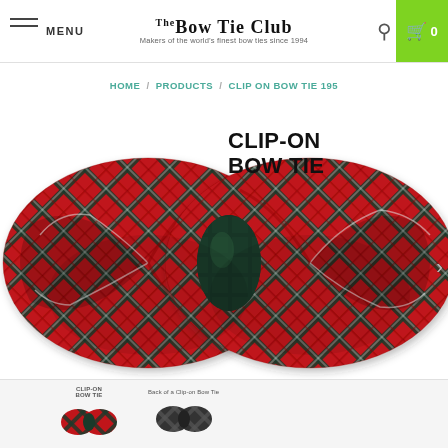THE BOW TIE CLUB — Makers of the world's finest bow ties since 1994 | MENU | Search | Cart 0
HOME / PRODUCTS / CLIP ON BOW TIE 195
CLIP-ON BOW TIE
[Figure (photo): Red and dark green tartan plaid clip-on bow tie, displayed flat against a white background. The bow tie features a classic butterfly shape with a dark green knot at the center.]
[Figure (photo): Thumbnail of a red tartan clip-on bow tie with label CLIP-ON BOW TIE]
[Figure (photo): Thumbnail of a dark tartan bow tie with label 'Back of a Clip-on Bow Tie']